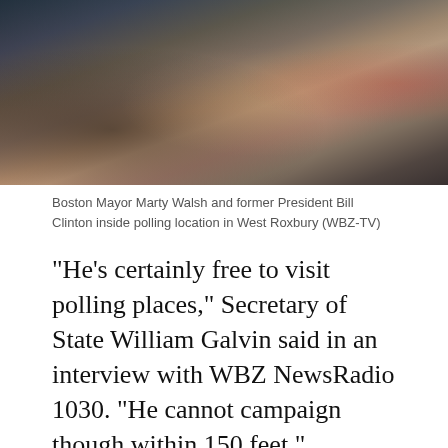[Figure (photo): Photo of Boston Mayor Marty Walsh and former President Bill Clinton shaking hands inside a polling location in West Roxbury, shown from torso down. Multiple people visible in background with teal/blue wall.]
Boston Mayor Marty Walsh and former President Bill Clinton inside polling location in West Roxbury (WBZ-TV)
"He's certainly free to visit polling places," Secretary of State William Galvin said in an interview with WBZ NewsRadio 1030. "He cannot campaign though within 150 feet."
Galvin said he gently reminded the Clinton campaign what the rules are.
"So we are being very clear with local election officials irrespective of his status, he cannot go inside